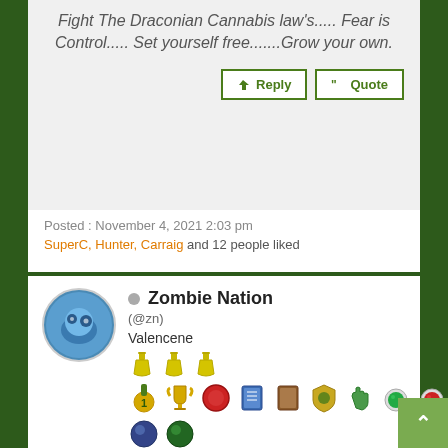Fight The Draconian Cannabis law's..... Fear is Control..... Set yourself free.......Grow your own.
Reply | Quote
Posted : November 4, 2021 2:03 pm
SuperC, Hunter, Carraig and 12 people liked
Zombie Nation
(@zn)
Valencene
[Figure (illustration): User badges and icons including flasks, medal, trophy, red button, book, shield, hand, green gems, and other achievement icons]
[Figure (illustration): Gold wings with cannabis leaf emblem in center]
Points: 101057